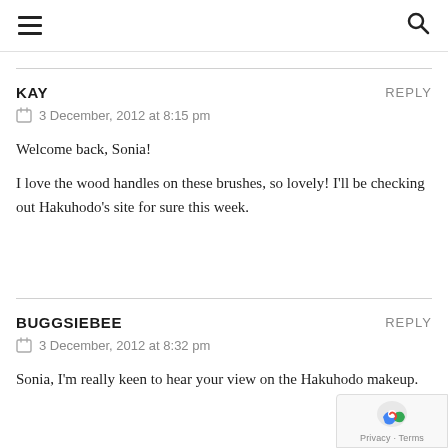≡  🔍
KAY
3 December, 2012 at 8:15 pm
Welcome back, Sonia!

I love the wood handles on these brushes, so lovely! I'll be checking out Hakuhodo's site for sure this week.
BUGGSIEBEE
3 December, 2012 at 8:32 pm
Sonia, I'm really keen to hear your view on the Hakuhodo makeup.